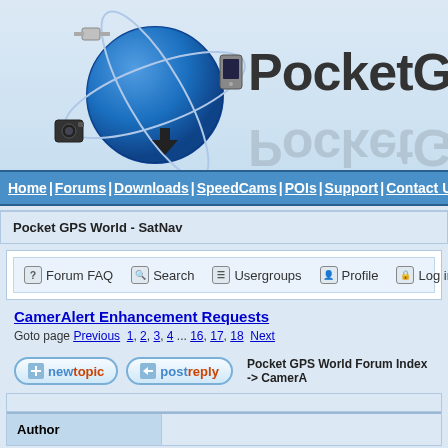[Figure (logo): PocketGPSWorld website header logo with blue globe and orbiting satellites/devices, and 'PocketGPSW' text (truncated)]
Home | Forums | Downloads | SpeedCams | POIs | Support | Contact Us
Pocket GPS World - SatNav
Forum FAQ  Search  Usergroups  Profile  Log in for private
CamerAlert Enhancement Requests
Goto page Previous  1, 2, 3, 4 ... 16, 17, 18  Next
newtopic  postreply  Pocket GPS World Forum Index -> CamerA
| Author |  |
| --- | --- |